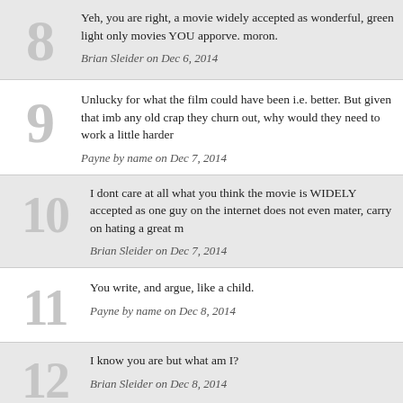8 — Yeh, you are right, a movie widely accepted as wonderful, green light only movies YOU apporve. moron. — Brian Sleider on Dec 6, 2014
9 — Unlucky for what the film could have been i.e. better. But given that imb any old crap they churn out, why would they need to work a little harder — Payne by name on Dec 7, 2014
10 — I dont care at all what you think the movie is WIDELY accepted as one guy on the internet does not even mater, carry on hating a great m — Brian Sleider on Dec 7, 2014
11 — You write, and argue, like a child. — Payne by name on Dec 8, 2014
12 — I know you are but what am I? — Brian Sleider on Dec 8, 2014